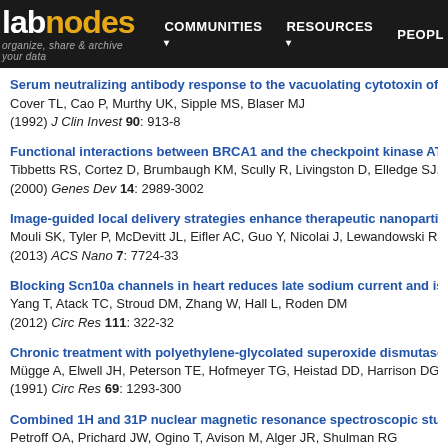labnodes — organize, share & archive your data — COMMUNITIES RESOURCES PEOPLE
Serum neutralizing antibody response to the vacuolating cytotoxin of Helic…
Cover TL, Cao P, Murthy UK, Sipple MS, Blaser MJ
(1992) J Clin Invest 90: 913-8
Functional interactions between BRCA1 and the checkpoint kinase ATR du…
Tibbetts RS, Cortez D, Brumbaugh KM, Scully R, Livingston D, Elledge SJ, Abra…
(2000) Genes Dev 14: 2989-3002
Image-guided local delivery strategies enhance therapeutic nanoparticle up…
Mouli SK, Tyler P, McDevitt JL, Eifler AC, Guo Y, Nicolai J, Lewandowski RJ, Li W…
(2013) ACS Nano 7: 7724-33
Blocking Scn10a channels in heart reduces late sodium current and is antia…
Yang T, Atack TC, Stroud DM, Zhang W, Hall L, Roden DM
(2012) Circ Res 111: 322-32
Chronic treatment with polyethylene-glycolated superoxide dismutase part…
Mügge A, Elwell JH, Peterson TE, Hofmeyer TG, Heistad DD, Harrison DG
(1991) Circ Res 69: 1293-300
Combined 1H and 31P nuclear magnetic resonance spectroscopic studies o…
Petroff OA, Prichard JW, Ogino T, Avison M, Alger JR, Shulman RG
(1986) Ann Neurol 20: 185-93
Elongation arrest is not a prerequisite for secretory protein translocation ac…
Siegel V, Walter P